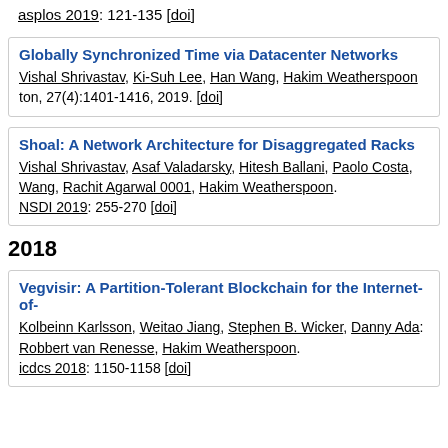asplos 2019: 121-135 [doi]
Globally Synchronized Time via Datacenter Networks. Vishal Shrivastav, Ki-Suh Lee, Han Wang, Hakim Weatherspoon. ton, 27(4):1401-1416, 2019. [doi]
Shoal: A Network Architecture for Disaggregated Racks. Vishal Shrivastav, Asaf Valadarsky, Hitesh Ballani, Paolo Costa, Wang, Rachit Agarwal 0001, Hakim Weatherspoon. NSDI 2019: 255-270 [doi]
2018
Vegvisir: A Partition-Tolerant Blockchain for the Internet-of-. Kolbeinn Karlsson, Weitao Jiang, Stephen B. Wicker, Danny Ada, Robbert van Renesse, Hakim Weatherspoon. icdcs 2018: 1150-1158 [doi]